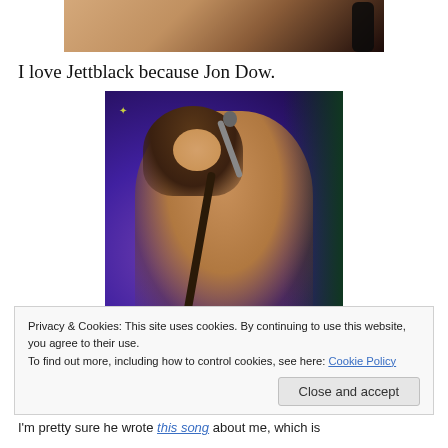[Figure (photo): Cropped photo showing a shirtless person from the torso up, dark background]
I love Jettblack because Jon Dow.
[Figure (photo): Photo of Jon Dow, a shirtless long-haired male rock musician singing into a microphone at a concert, with purple/blue stage lighting]
Privacy & Cookies: This site uses cookies. By continuing to use this website, you agree to their use.
To find out more, including how to control cookies, see here: Cookie Policy
Close and accept
I'm pretty sure he wrote this song about me, which is